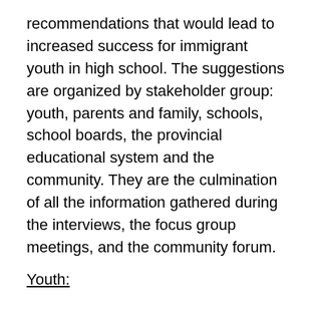recommendations that would lead to increased success for immigrant youth in high school. The suggestions are organized by stakeholder group: youth, parents and family, schools, school boards, the provincial educational system and the community. They are the culmination of all the information gathered during the interviews, the focus group meetings, and the community forum.
Youth:
What immigrant youth in high school can do to improve their own success:
Patience and perseverance and most importantly, being unafraid to ask for help. Although the process may take some time and courage, immigrant youth must develop goals and reach out to others for the